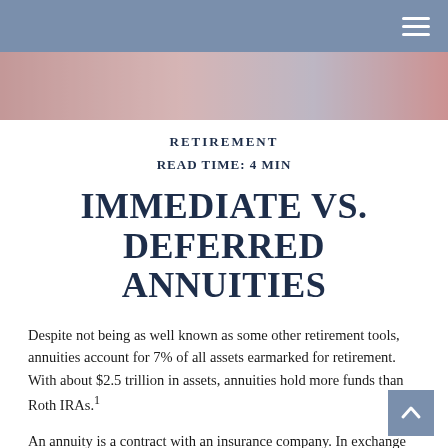[Figure (photo): Blurred hero image with warm tones, red and pink fabric in the background]
RETIREMENT
READ TIME: 4 MIN
IMMEDIATE VS. DEFERRED ANNUITIES
Despite not being as well known as some other retirement tools, annuities account for 7% of all assets earmarked for retirement. With about $2.5 trillion in assets, annuities hold more funds than Roth IRAs.¹
An annuity is a contract with an insurance company. In exchange